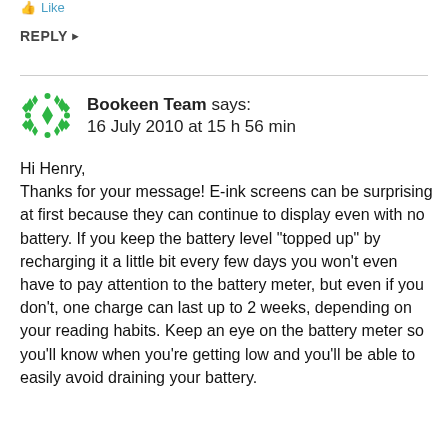Like
REPLY ▶
[Figure (logo): Bookeen Team green diamond/snowflake avatar icon]
Bookeen Team says:
16 July 2010 at 15 h 56 min
Hi Henry,
Thanks for your message! E-ink screens can be surprising at first because they can continue to display even with no battery. If you keep the battery level “topped up” by recharging it a little bit every few days you won’t even have to pay attention to the battery meter, but even if you don’t, one charge can last up to 2 weeks, depending on your reading habits. Keep an eye on the battery meter so you’ll know when you’re getting low and you’ll be able to easily avoid draining your battery.